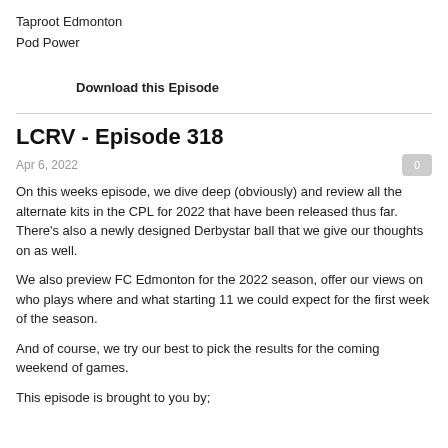Taproot Edmonton
Pod Power
Download this Episode
LCRV - Episode 318
Apr 6, 2022
On this weeks episode, we dive deep (obviously) and review all the alternate kits in the CPL for 2022 that have been released thus far. There’s also a newly designed Derbystar ball that we give our thoughts on as well.
We also preview FC Edmonton for the 2022 season, offer our views on who plays where and what starting 11 we could expect for the first week of the season.
And of course, we try our best to pick the results for the coming weekend of games.
This episode is brought to you by;